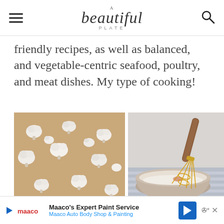A beautiful plate PLATE
friendly recipes, as well as balanced, and vegetable-centric seafood, poultry, and meat dishes. My type of cooking!
[Figure (photo): Cauliflower florets spread on a brown parchment-lined baking sheet]
[Figure (photo): A ceramic bowl with a wooden-handled gold whisk, containing flour or a dry mixture with spices, resting on a striped cloth]
Maaco's Expert Paint Service Maaco Auto Body Shop & Painting